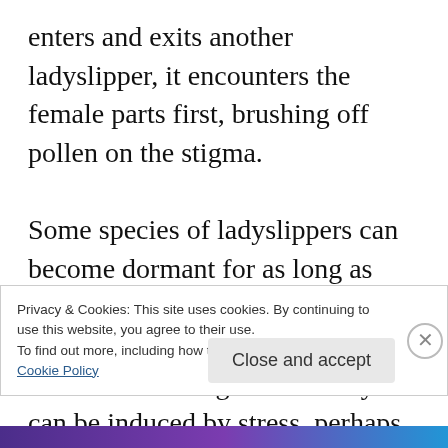enters and exits another ladyslipper, it encounters the female parts first, brushing off pollen on the stigma.
Some species of ladyslippers can become dormant for as long as three to five years, not showing above-ground shoots at all during that time. Prolonged dormancy can be induced by stress, perhaps from a bad growing season or the cost of making many seeds. These dormancy periods sometimes presage
Privacy & Cookies: This site uses cookies. By continuing to use this website, you agree to their use.
To find out more, including how to control cookies, see here:
Cookie Policy